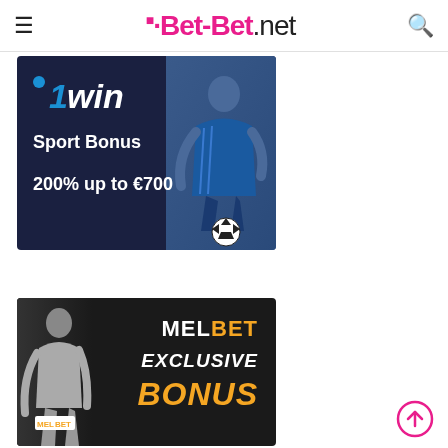≡  ·Bet-Bet.net  🔍
[Figure (illustration): 1win advertisement banner: dark navy background with a female soccer player in blue uniform holding a ball on the right side. Text reads '1win Sport Bonus 200% up to €700']
[Figure (illustration): MELBET advertisement banner: dark background with a female model on the left. Text reads 'MELBET EXCLUSIVE BONUS' with MELBET branding and small MELBET logo badge.]